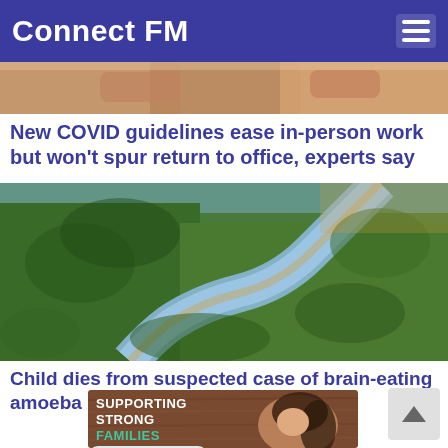Connect FM
[Figure (photo): Cropped top of a photo showing hands, partially visible at top of page]
New COVID guidelines ease in-person work but won't spur return to office, experts say
[Figure (photo): Aerial view of a winding river through green forested landscape]
Child dies from suspected case of brain-eating amoeba in Nebraska, the state's first
[Figure (photo): Advertisement showing a smiling woman with text: SUPPORTING STRONG FAMILIES LEARN MORE]